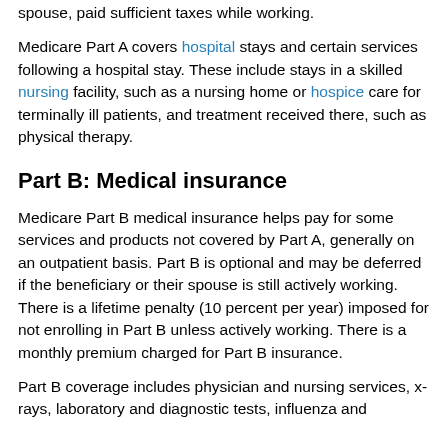spouse, paid sufficient taxes while working.
Medicare Part A covers hospital stays and certain services following a hospital stay. These include stays in a skilled nursing facility, such as a nursing home or hospice care for terminally ill patients, and treatment received there, such as physical therapy.
Part B: Medical insurance
Medicare Part B medical insurance helps pay for some services and products not covered by Part A, generally on an outpatient basis. Part B is optional and may be deferred if the beneficiary or their spouse is still actively working. There is a lifetime penalty (10 percent per year) imposed for not enrolling in Part B unless actively working. There is a monthly premium charged for Part B insurance.
Part B coverage includes physician and nursing services, x-rays, laboratory and diagnostic tests, influenza and